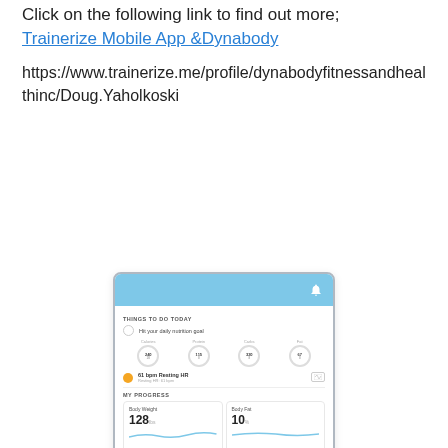Click on the following link to find out more;
Trainerize Mobile App &Dynabody
https://www.trainerize.me/profile/dynabodyfitnessandhealthinc/Doug.Yaholkoski
[Figure (screenshot): Screenshot of the Trainerize mobile app showing 'Things To Do Today' with nutrition goals and 'My Progress' cards for Body Weight (128), Body Fat (10), Resting Heart Rate (61 bpm), and Photos sections, along with a bottom navigation bar.]